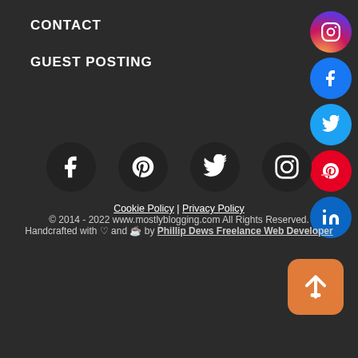CONTACT
GUEST POSTING
[Figure (other): Vertical stack of circular social media icons on the right side: Instagram (gradient), Facebook (blue), Twitter (light blue), Pinterest (red), LinkedIn (blue)]
[Figure (other): Row of four circular social media icons centered: Facebook, Pinterest, Twitter, Instagram]
Cookie Policy | Privacy Policy
© 2014 - 2022 www.mostlyblogging.com All Rights Reserved.
Handcrafted with ♡ and ☕ by Phillip Dews Freelance Web Developer
[Figure (other): Orange rounded square button with white upload/up arrow icon for scroll to top]